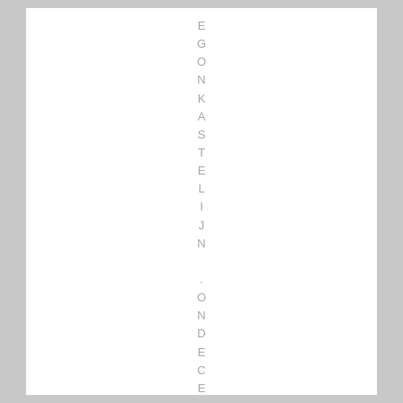EGONKASTELIJN .ONDECEMBER21ST.